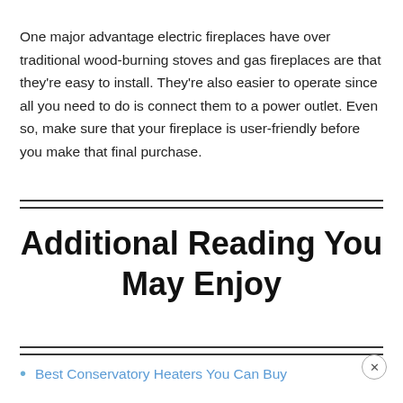One major advantage electric fireplaces have over traditional wood-burning stoves and gas fireplaces are that they're easy to install. They're also easier to operate since all you need to do is connect them to a power outlet. Even so, make sure that your fireplace is user-friendly before you make that final purchase.
Additional Reading You May Enjoy
Best Conservatory Heaters You Can Buy